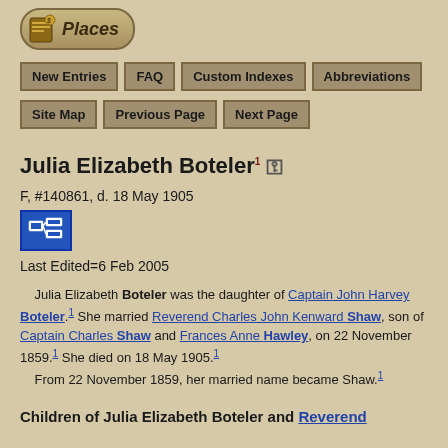[Figure (logo): Places logo with icon and rounded rectangle border]
New Entries | FAQ | Custom Indexes | Abbreviations | Site Map | Previous Page | Next Page
Julia Elizabeth Boteler1 [lock icon]
F, #140861, d. 18 May 1905
Last Edited=6 Feb 2005
Julia Elizabeth Boteler was the daughter of Captain John Harvey Boteler.1 She married Reverend Charles John Kenward Shaw, son of Captain Charles Shaw and Frances Anne Hawley, on 22 November 1859.1 She died on 18 May 1905.1 From 22 November 1859, her married name became Shaw.1
Children of Julia Elizabeth Boteler and Reverend